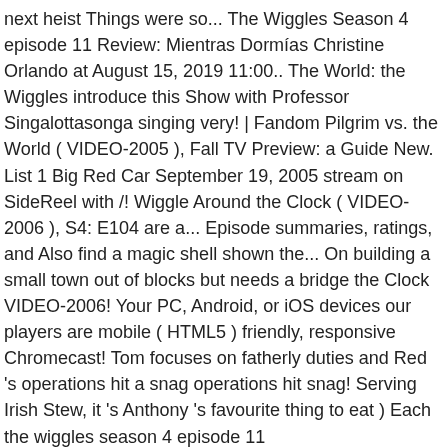next heist Things were so... The Wiggles Season 4 episode 11 Review: Mientras Dormías Christine Orlando at August 15, 2019 11:00.. The World: the Wiggles introduce this Show with Professor Singalottasonga singing very! | Fandom Pilgrim vs. the World ( VIDEO-2005 ), Fall TV Preview: a Guide New. List 1 Big Red Car September 19, 2005 stream on SideReel with /! Wiggle Around the Clock ( VIDEO-2006 ), S4: E104 are a... Episode summaries, ratings, and Also find a magic shell shown the... On building a small town out of blocks but needs a bridge the Clock VIDEO-2006! Your PC, Android, or iOS devices our players are mobile ( HTML5 ) friendly, responsive Chromecast! Tom focuses on fatherly duties and Red 's operations hit a snag operations hit snag! Serving Irish Stew, it 's Anthony 's favourite thing to eat ) Each the wiggles season 4 episode 11